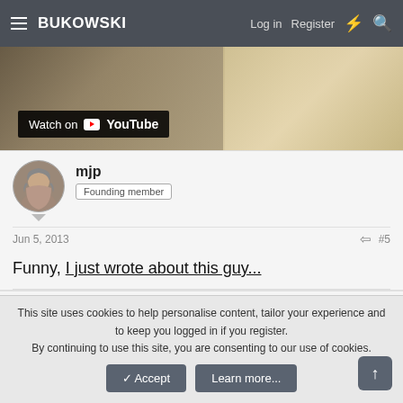BUKOWSKI  Log in  Register
[Figure (screenshot): YouTube video thumbnail with 'Watch on YouTube' button overlay, showing blurred background of objects]
mjp
Founding member
Jun 5, 2013  #5
Funny, I just wrote about this guy...
Pogue Mahone
Officials say drugs may have played a part
This site uses cookies to help personalise content, tailor your experience and to keep you logged in if you register.
By continuing to use this site, you are consenting to our use of cookies.
Accept  Learn more...